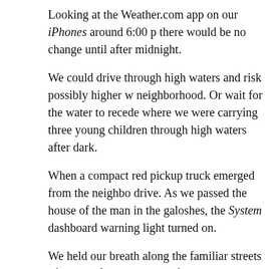Looking at the Weather.com app on our iPhones around 6:00 there would be no change until after midnight.
We could drive through high waters and risk possibly higher w neighborhood. Or wait for the water to recede where we were carrying three young children through high waters after dark.
When a compact red pickup truck emerged from the neighbo drive. As we passed the house of the man in the galoshes, the System dashboard warning light turned on.
We held our breath along the familiar streets of our old floode Instead of turning onto our old street, we reached Grandma a was clear.
The waters were down only on this street, so a steady stream from the highway frontage road that separates our old and ne
A few hours later, the children awoke. We checked to ensure t before driving past all the stranded cars scattered along our fa